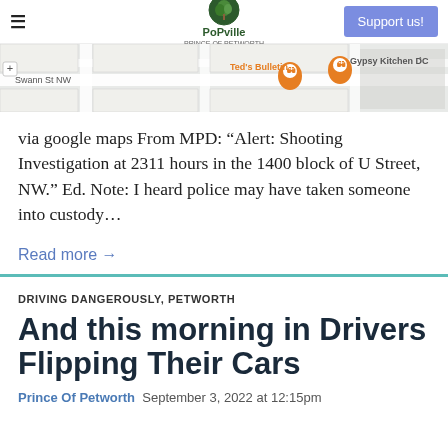≡  PoPville  Support us!
[Figure (map): Google Maps screenshot showing Swann St NW area with Ted's Bulletin and Gypsy Kitchen DC restaurant markers]
via google maps From MPD: "Alert: Shooting Investigation at 2311 hours in the 1400 block of U Street, NW." Ed. Note: I heard police may have taken someone into custody...
Read more →
DRIVING DANGEROUSLY, PETWORTH
And this morning in Drivers Flipping Their Cars
Prince Of Petworth  September 3, 2022 at 12:15pm